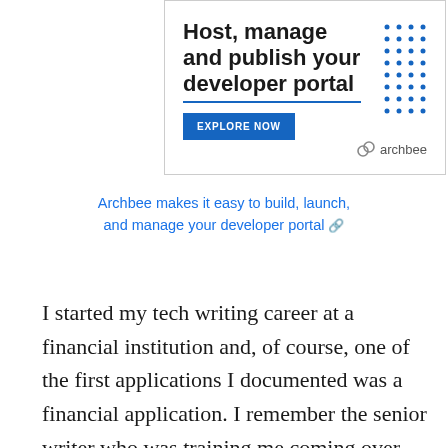[Figure (other): Advertisement banner for Archbee with text 'Host, manage and publish your developer portal', blue underline, 'EXPLORE NOW' button, dot grid pattern, and archbee logo.]
Archbee makes it easy to build, launch, and manage your developer portal
I started my tech writing career at a financial institution and, of course, one of the first applications I documented was a financial application. I remember the senior writer who was training me coming over and telling me